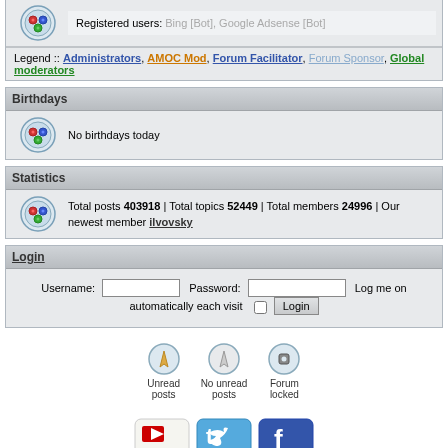Registered users: Bing [Bot], Google Adsense [Bot]
Legend :: Administrators, AMOC Mod, Forum Facilitator, Forum Sponsor, Global moderators
Birthdays
No birthdays today
Statistics
Total posts 403918 | Total topics 52449 | Total members 24996 | Our newest member ilvovsky
Login
Username: [input] Password: [input] Log me on automatically each visit [checkbox] Login
Unread posts | No unread posts | Forum locked
[Figure (logo): YouTube, Twitter, Facebook social media icons]
Powered by phpBB® Forum Software © phpBB Group